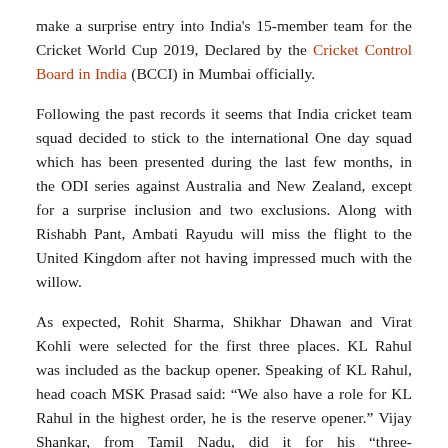make a surprise entry into India's 15-member team for the Cricket World Cup 2019, Declared by the Cricket Control Board in India (BCCI) in Mumbai officially.
Following the past records it seems that India cricket team squad decided to stick to the international One day squad which has been presented during the last few months, in the ODI series against Australia and New Zealand, except for a surprise inclusion and two exclusions. Along with Rishabh Pant, Ambati Rayudu will miss the flight to the United Kingdom after not having impressed much with the willow.
As expected, Rohit Sharma, Shikhar Dhawan and Virat Kohli were selected for the first three places. KL Rahul was included as the backup opener. Speaking of KL Rahul, head coach MSK Prasad said: “We also have a role for KL Rahul in the highest order, he is the reserve opener.” Vijay Shankar, from Tamil Nadu, did it for his “three-dimensional” qualities.